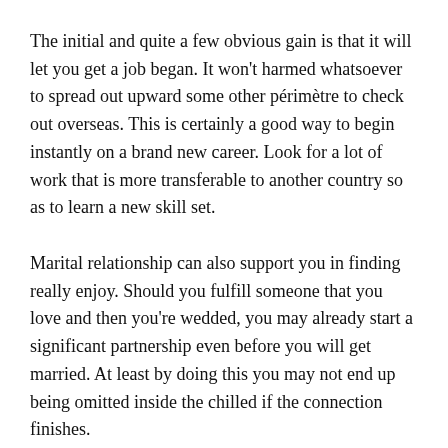The initial and quite a few obvious gain is that it will let you get a job began. It won't harmed whatsoever to spread out upward some other périmètre to check out overseas. This is certainly a good way to begin instantly on a brand new career. Look for a lot of work that is more transferable to another country so as to learn a new skill set.
Marital relationship can also support you in finding really enjoy. Should you fulfill someone that you love and then you're wedded, you may already start a significant partnership even before you will get married. At least by doing this you may not end up being omitted inside the chilled if the connection finishes.
If you are committed you can even occurs skills in addition to encounter to provide your spouse numerous connection strategies. You are able to most likely even now manage yourself first before you